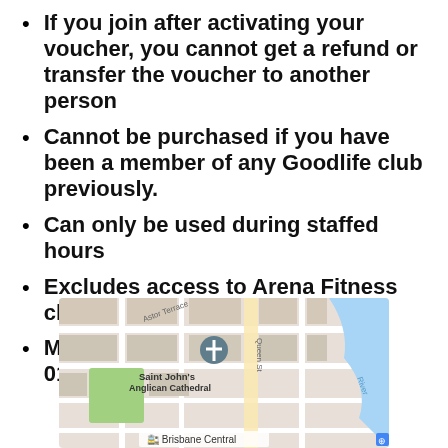If you join after activating your voucher, you cannot get a refund or transfer the voucher to another person
Cannot be purchased if you have been a member of any Goodlife club previously.
Can only be used during staffed hours
Excludes access to Arena Fitness classes
Must be activated between 01/09/2022 and 01/10/2022
[Figure (map): Google Maps snippet showing Saint John's Anglican Cathedral, Queen Street, Astor Terrace, Brisbane Central area with river to the right]